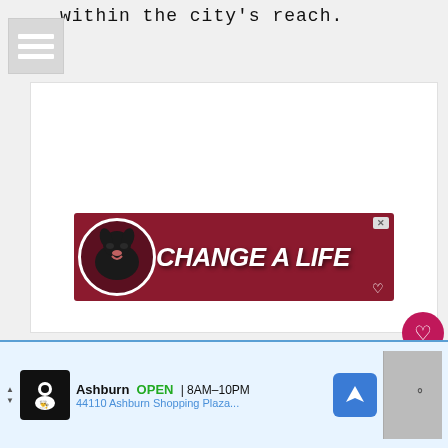within the city's reach.
[Figure (screenshot): Hamburger menu icon with three horizontal white lines on grey background]
[Figure (screenshot): Advertisement banner with dark red background, black labrador dog image on left and white bold italic text reading CHANGE A LIFE with heart outline icon]
[Figure (infographic): Heart like button (crimson circle with white heart) showing count of 6, and share button below]
[Figure (screenshot): Bottom advertisement bar showing Ashburn location, OPEN 8AM-10PM, 44110 Ashburn Shopping Plaza, with navigation arrow button and weather widget]